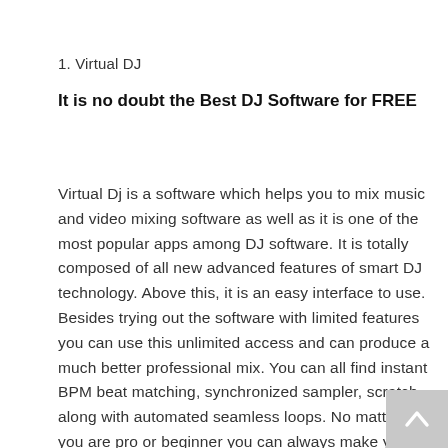1. Virtual DJ
It is no doubt the Best DJ Software for FREE
Virtual Dj is a software which helps you to mix music and video mixing software as well as it is one of the most popular apps among DJ software. It is totally composed of all new advanced features of smart DJ technology. Above this, it is an easy interface to use. Besides trying out the software with limited features you can use this unlimited access and can produce a much better professional mix. You can all find instant BPM beat matching, synchronized sampler, scratch along with automated seamless loops. No matter you are pro or beginner you can always make your audio perfect.